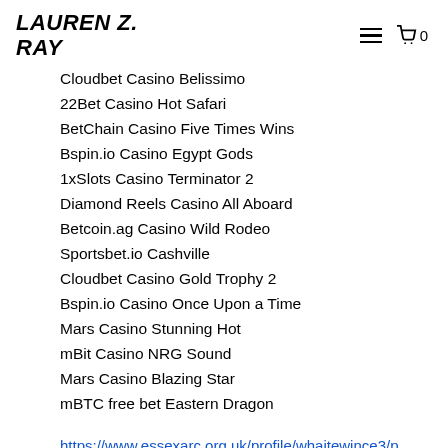LAUREN Z. RAY
Cloudbet Casino Belissimo
22Bet Casino Hot Safari
BetChain Casino Five Times Wins
Bspin.io Casino Egypt Gods
1xSlots Casino Terminator 2
Diamond Reels Casino All Aboard
Betcoin.ag Casino Wild Rodeo
Sportsbet.io Cashville
Cloudbet Casino Gold Trophy 2
Bspin.io Casino Once Upon a Time
Mars Casino Stunning Hot
mBit Casino NRG Sound
Mars Casino Blazing Star
mBTC free bet Eastern Dragon
https://www.essexarc.org.uk/profile/whaitewince3/profile
https://www.shake-